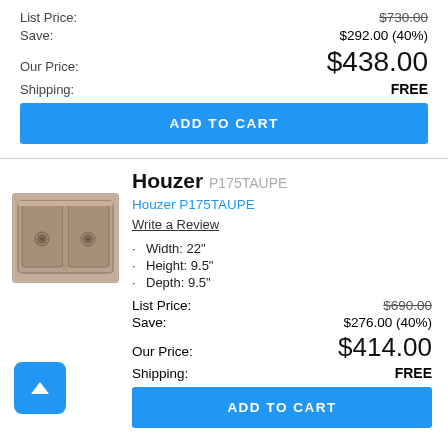List Price: $730.00 (strikethrough)
Save: $292.00 (40%)
Our Price: $438.00
Shipping: FREE
ADD TO CART
[Figure (photo): Double basin kitchen sink in taupe/brown granite composite]
Houzer P175TAUPE
Houzer P175TAUPE (link)
Write a Review
Width: 22"
Height: 9.5"
Depth: 9.5"
List Price: $690.00 (strikethrough)
Save: $276.00 (40%)
Our Price: $414.00
Shipping: FREE
ADD TO CART